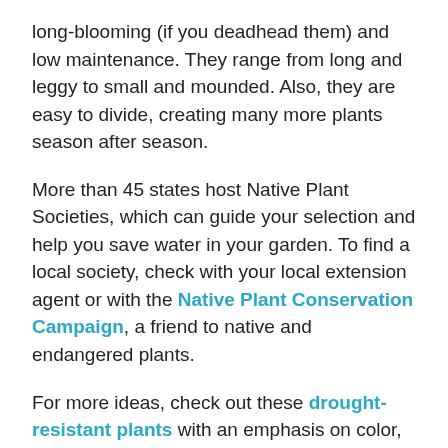long-blooming (if you deadhead them) and low maintenance. They range from long and leggy to small and mounded. Also, they are easy to divide, creating many more plants season after season.
More than 45 states host Native Plant Societies, which can guide your selection and help you save water in your garden. To find a local society, check with your local extension agent or with the Native Plant Conservation Campaign, a friend to native and endangered plants.
For more ideas, check out these drought-resistant plants with an emphasis on color, and these lawn alternatives that don't hog water.
TOPIC
By Room, Improve, Yard & Patio